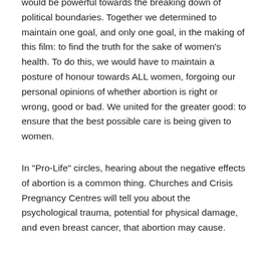would be powerful towards the breaking down of political boundaries. Together we determined to maintain one goal, and only one goal, in the making of this film: to find the truth for the sake of women's health. To do this, we would have to maintain a posture of honour towards ALL women, forgoing our personal opinions of whether abortion is right or wrong, good or bad. We united for the greater good: to ensure that the best possible care is being given to women.
In "Pro-Life" circles, hearing about the negative effects of abortion is a common thing. Churches and Crisis Pregnancy Centres will tell you about the psychological trauma, potential for physical damage, and even breast cancer, that abortion may cause.